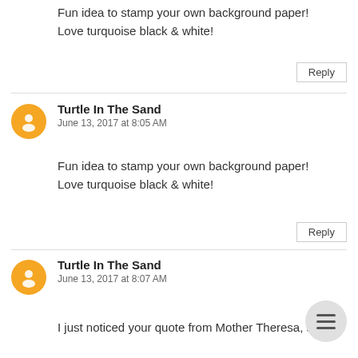Fun idea to stamp your own background paper! Love turquoise black & white!
Reply
Turtle In The Sand
June 13, 2017 at 8:05 AM
Fun idea to stamp your own background paper! Love turquoise black & white!
Reply
Turtle In The Sand
June 13, 2017 at 8:07 AM
I just noticed your quote from Mother Theresa, so